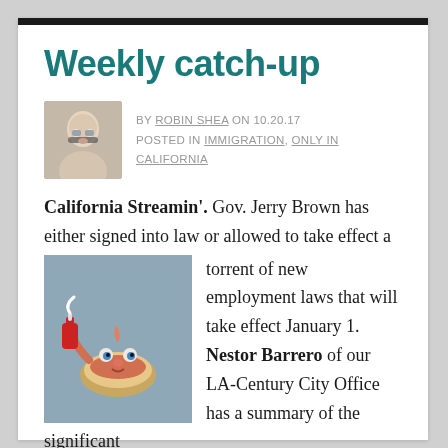Weekly catch-up
BY ROBIN SHEA ON 10.20.17
POSTED IN IMMIGRATION, ONLY IN CALIFORNIA
[Figure (photo): Author headshot photo - woman with glasses]
California Streamin'. Gov. Jerry Brown has either signed into law or allowed to take effect a torrent of new employment laws that will take effect January 1. Nestor Barrero of our LA-Century City Office has a summary of the significant ones, with recommendations for employers with operations there. Check it out!
[Figure (photo): Hot dog mascot character - anthropomorphized hot dog in a bun holding a condiment bottle]